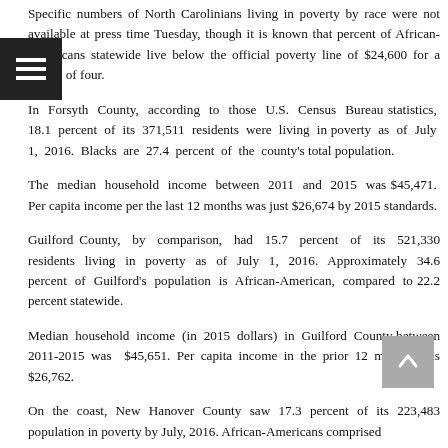Specific numbers of North Carolinians living in poverty by race were not available at press time Tuesday, though it is known that percent of African-Americans statewide live below the official poverty line of $24,600 for a family of four.
In Forsyth County, according to those U.S. Census Bureau statistics, 18.1 percent of its 371,511 residents were living in poverty as of July 1, 2016. Blacks are 27.4 percent of the county's total population.
The median household income between 2011 and 2015 was $45,471. Per capita income per the last 12 months was just $26,674 by 2015 standards.
Guilford County, by comparison, had 15.7 percent of its 521,330 residents living in poverty as of July 1, 2016. Approximately 34.6 percent of Guilford's population is African-American, compared to 22.2 percent statewide.
Median household income (in 2015 dollars) in Guilford County between 2011-2015 was $45,651. Per capita income in the prior 12 months was $26,762.
On the coast, New Hanover County saw 17.3 percent of its 223,483 population in poverty by July, 2016. African-Americans comprised